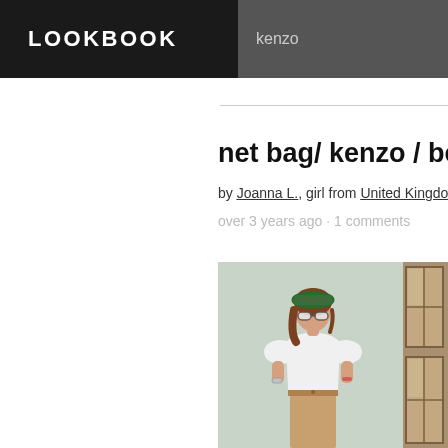LOOKBOOK
kenzo
net bag/ kenzo / beige
by Joanna L., girl from United Kingdom
over 3 years ago · 1 comments
[Figure (photo): Fashion photo of a young woman wearing a white puff-sleeve crop top, beige high-waisted shorts, sunglasses, and a patterned headband, standing against a light green/grey wall.]